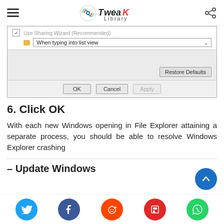Tweak Library
[Figure (screenshot): Windows File Explorer Options dialog box showing 'Use Sharing Wizard (Recommended)' checkbox and 'When typing into list view' dropdown, with Restore Defaults, OK, Cancel, and Apply buttons]
6. Click OK
With each new Windows opening in File Explorer attaining a separate process, you should be able to resolve Windows Explorer crashing
– Update Windows